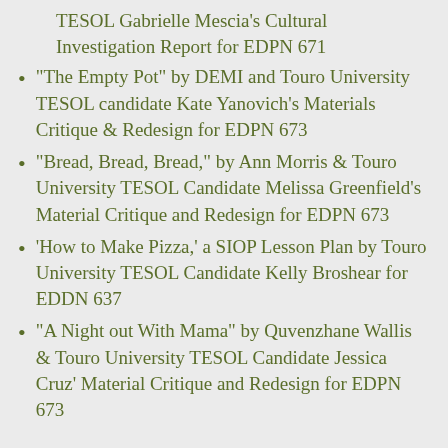TESOL Gabrielle Mescia's Cultural Investigation Report for EDPN 671
“The Empty Pot” by DEMI and Touro University TESOL candidate Kate Yanovich’s Materials Critique & Redesign for EDPN 673
“Bread, Bread, Bread,” by Ann Morris & Touro University TESOL Candidate Melissa Greenfield’s Material Critique and Redesign for EDPN 673
‘How to Make Pizza,’ a SIOP Lesson Plan by Touro University TESOL Candidate Kelly Broshear for EDDN 637
“A Night out With Mama” by Quvenzhane Wallis & Touro University TESOL Candidate Jessica Cruz’ Material Critique and Redesign for EDPN 673